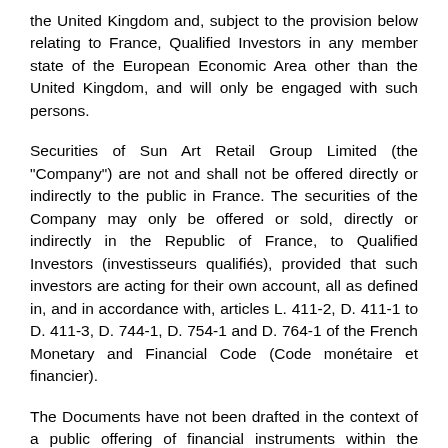the United Kingdom and, subject to the provision below relating to France, Qualified Investors in any member state of the European Economic Area other than the United Kingdom, and will only be engaged with such persons.
Securities of Sun Art Retail Group Limited (the "Company") are not and shall not be offered directly or indirectly to the public in France. The securities of the Company may only be offered or sold, directly or indirectly in the Republic of France, to Qualified Investors (investisseurs qualifiés), provided that such investors are acting for their own account, all as defined in, and in accordance with, articles L. 411-2, D. 411-1 to D. 411-3, D. 744-1, D. 754-1 and D. 764-1 of the French Monetary and Financial Code (Code monétaire et financier).
The Documents have not been drafted in the context of a public offering of financial instruments within the meaning of article L. 411-1 of the French Monetary and Financial